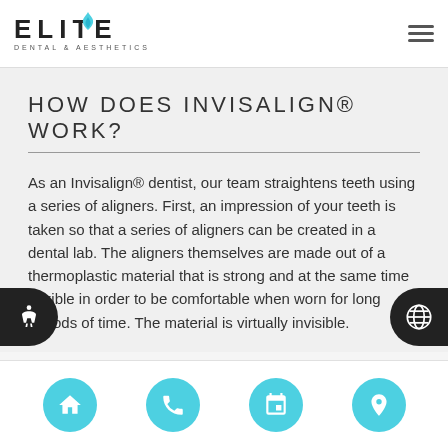[Figure (logo): Elite Dental & Aesthetics logo with stylized blue flame above the letter I]
HOW DOES INVISALIGN® WORK?
As an Invisalign® dentist, our team straightens teeth using a series of aligners. First, an impression of your teeth is taken so that a series of aligners can be created in a dental lab. The aligners themselves are made out of a thermoplastic material that is strong and at the same time flexible in order to be comfortable when worn for long periods of time. The material is virtually invisible.